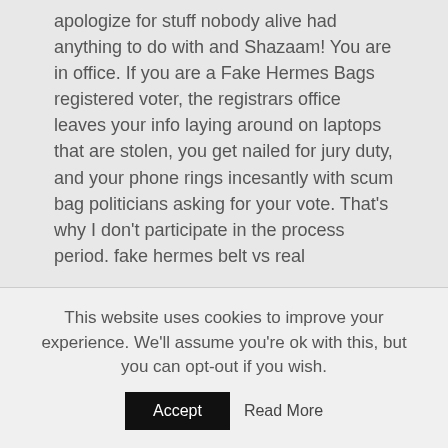apologize for stuff nobody alive had anything to do with and Shazaam! You are in office. If you are a Fake Hermes Bags registered voter, the registrars office leaves your info laying around on laptops that are stolen, you get nailed for jury duty, and your phone rings incesantly with scum bag politicians asking for your vote. That’s why I don’t participate in the process period. fake hermes belt vs real
Replica Hermes uk We focusing a lot high quality hermes replica of effort on telling the story of our players so fans get to know them as people. We know that an important aspect of attracting fans, because our guys are cool and they interesting and they selfless. Getting them into the communities is another big part of our strategy. Replica Hermes uk
high quality hermes birkin replica Sgt. Tony Slocum (Indiana State Police): «That young lady is a high quality hermes replica uk hero,
This website uses cookies to improve your experience. We'll assume you're ok with this, but you can opt-out if you wish.
Accept
Read More